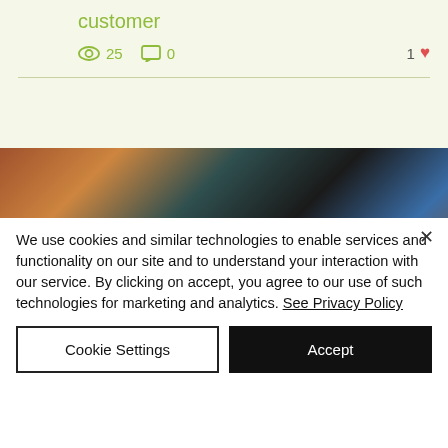customer
25  0  1 ♥
[Figure (photo): A man wearing traditional African attire with bead necklaces and a feathered headband, with overlaid text: 'CALL / WHATSAPP: +27798570588 Prof. Bazuke Mbalo']
We use cookies and similar technologies to enable services and functionality on our site and to understand your interaction with our service. By clicking on accept, you agree to our use of such technologies for marketing and analytics. See Privacy Policy
Cookie Settings
Accept